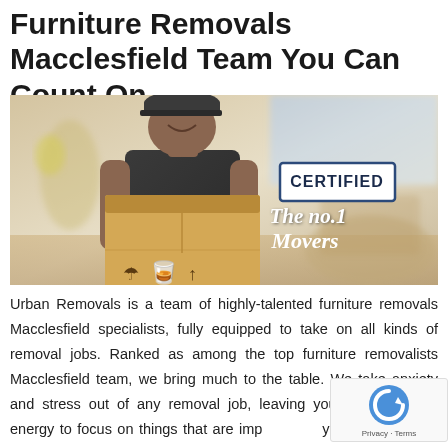Furniture Removals Macclesfield Team You Can Count On
[Figure (photo): A smiling male mover wearing a dark cap and polo shirt, holding a cardboard box with handling symbols. Background shows a blurred interior. Overlay text reads 'CERTIFIED' in a box and 'The no.1 Movers' in white italic script.]
Urban Removals is a team of highly-talented furniture removals Macclesfield specialists, fully equipped to take on all kinds of removal jobs. Ranked as among the top furniture removalists Macclesfield team, we bring much to the table. We take anxiety and stress out of any removal job, leaving you with time and energy to focus on things that are important to you. Our furniture removals Macclesfield specialists are the very best in the business and boast of years of experience in